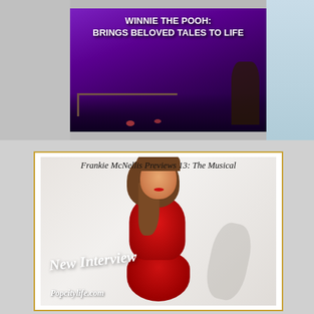[Figure (photo): Top banner image showing a theatrical stage scene with purple lighting. Bold white text reads 'WINNIE THE POOH: BRINGS BELOVED TALES TO LIFE' overlaid on the dark purple stage backdrop.]
[Figure (photo): Card with gold border featuring a young woman in a red outfit posing against a light background. Italic text overlay reads 'Frankie McNellis Previews 13: The Musical' at the top, 'New Interview' in white italic script in the middle-lower area, and 'Popcitylife.com' at the bottom left.]